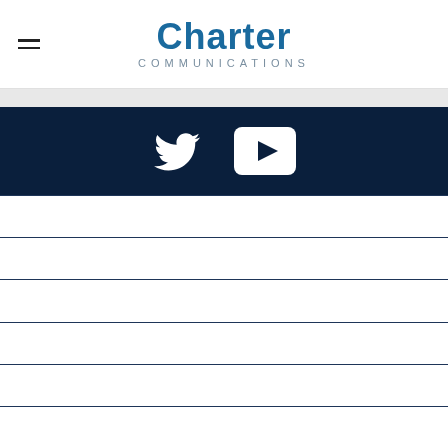[Figure (logo): Charter Communications logo with hamburger menu icon on the left]
[Figure (infographic): Social media icons: Twitter bird icon and YouTube play button icon, white on dark navy background]
Company
Newsroom
Investors
Careers
Community Impact
Public Policy